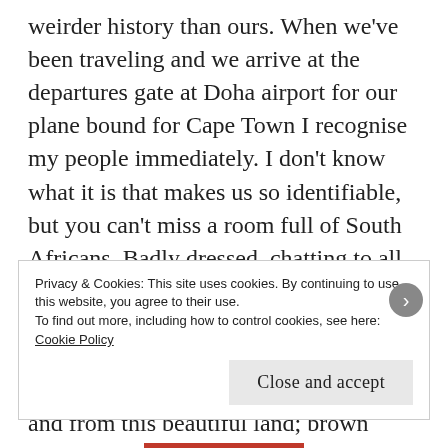weirder history than ours. When we've been traveling and we arrive at the departures gate at Doha airport for our plane bound for Cape Town I recognise my people immediately. I don't know what it is that makes us so identifiable, but you can't miss a room full of South Africans. Badly dressed, chatting to all and sundry, a roomful of mongrels. We are, after all, braks; pavement specials; hybridisations of all that has been. We are the products of centuries of travel to and from this beautiful land; brown faces with blue eyes. White faces with kroes hare. Even my hair minces when it's humid. Before we were
Privacy & Cookies: This site uses cookies. By continuing to use this website, you agree to their use.
To find out more, including how to control cookies, see here: Cookie Policy
Close and accept